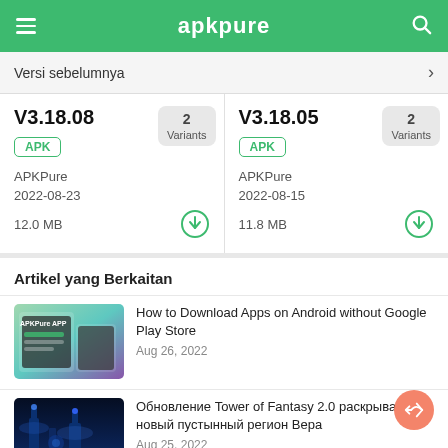apkpure
Versi sebelumnya
V3.18.08
APK
APKPure
2022-08-23
12.0 MB
2 Variants
V3.18.05
APK
APKPure
2022-08-15
11.8 MB
2 Variants
Artikel yang Berkaitan
[Figure (screenshot): APKPure APP thumbnail with phone mockup]
How to Download Apps on Android without Google Play Store
Aug 26, 2022
[Figure (photo): Tower of Fantasy sci-fi cityscape at night]
Обновление Tower of Fantasy 2.0 раскрывает новый пустынный регион Вера
Aug 25, 2022